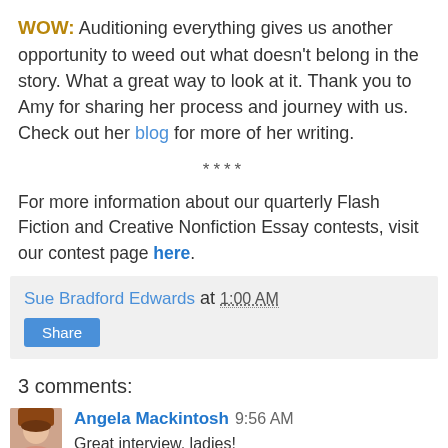WOW: Auditioning everything gives us another opportunity to weed out what doesn't belong in the story. What a great way to look at it. Thank you to Amy for sharing her process and journey with us. Check out her blog for more of her writing.
****
For more information about our quarterly Flash Fiction and Creative Nonfiction Essay contests, visit our contest page here.
Sue Bradford Edwards at 1:00 AM
Share
3 comments:
Angela Mackintosh 9:56 AM
Great interview, ladies!
Amy ~ I just love your voice in this piece--the beat and